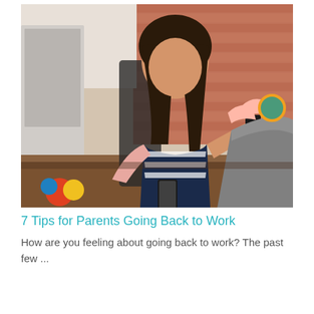[Figure (photo): A young woman with long dark hair wearing a striped top sits at a desk with a laptop, attending to a baby in a car seat/bouncer. She holds a phone in one hand. Background shows a red brick wall. She appears to be multitasking between work and childcare.]
7 Tips for Parents Going Back to Work
How are you feeling about going back to work? The past few ...